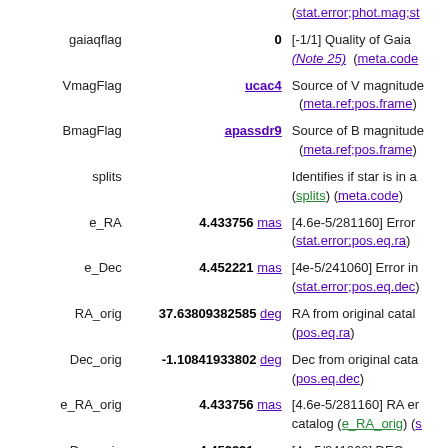| Field | Value | Description |
| --- | --- | --- |
| gaiaqflag | 0 | [-1/1] Quality of Gaia (Note 25) (meta.code... |
| VmagFlag | ucac4 | Source of V magnitude (meta.ref;pos.frame) |
| BmagFlag | apassdr9 | Source of B magnitude (meta.ref;pos.frame) |
| splits |  | Identifies if star is in a (splits) (meta.code) |
| e_RA | 4.433756 mas | [4.6e-5/281160] Error (stat.error;pos.eq.ra) |
| e_Dec | 4.452221 mas | [4e-5/241060] Error in (stat.error;pos.eq.dec) |
| RA_orig | 37.63809382585 deg | RA from original catalog (pos.eq.ra) |
| Dec_orig | -1.10841933802 deg | Dec from original catalog (pos.eq.dec) |
| e_RA_orig | 4.433756 mas | [4.6e-5/281160] RA error catalog (e_RA_orig) (s... |
| e_Dec_orig | 4.452221 mas | [4e-5/241060] DEC error catalog (e_Dec_orig) (... |
| raddflag | -1 | [-1/1] 1=dwarf by raddflag (meta.code... |